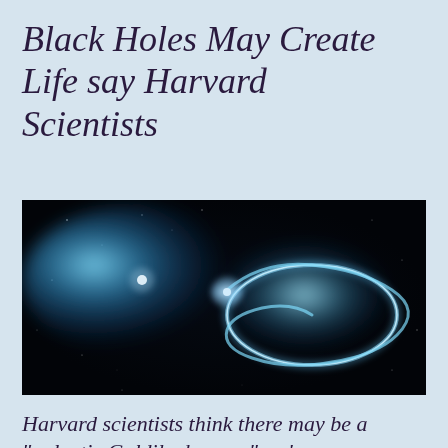Black Holes May Create Life say Harvard Scientists
[Figure (photo): Artistic rendering of a black hole with glowing blue accretion disk and ring structure against a dark starfield]
Harvard scientists think there may be a "galactic Goldilocks zone" we're overlooking.
I...